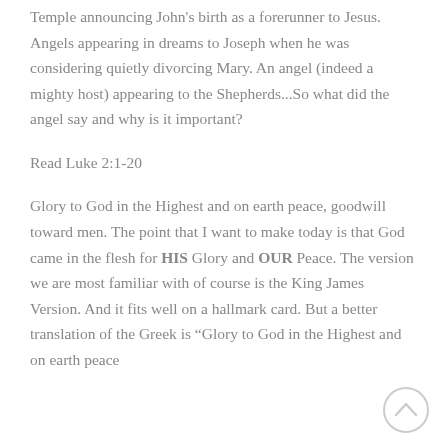Temple announcing John's birth as a forerunner to Jesus. Angels appearing in dreams to Joseph when he was considering quietly divorcing Mary. An angel (indeed a mighty host) appearing to the Shepherds...So what did the angel say and why is it important?
Read Luke 2:1-20
Glory to God in the Highest and on earth peace, goodwill toward men. The point that I want to make today is that God came in the flesh for HIS Glory and OUR Peace. The version we are most familiar with of course is the King James Version. And it fits well on a hallmark card. But a better translation of the Greek is “Glory to God in the Highest and on earth peace